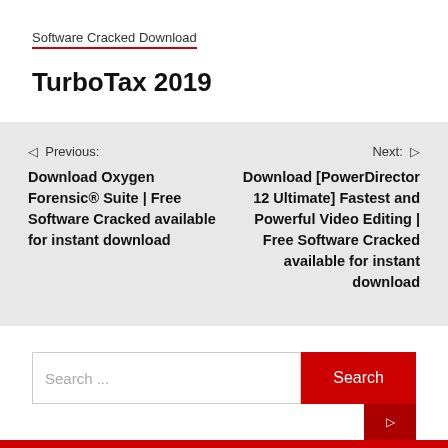Software Cracked Download
TurboTax 2019
Previous: Download Oxygen Forensic® Suite | Free Software Cracked available for instant download
Next: Download [PowerDirector 12 Ultimate] Fastest and Powerful Video Editing | Free Software Cracked available for instant download
Search ...